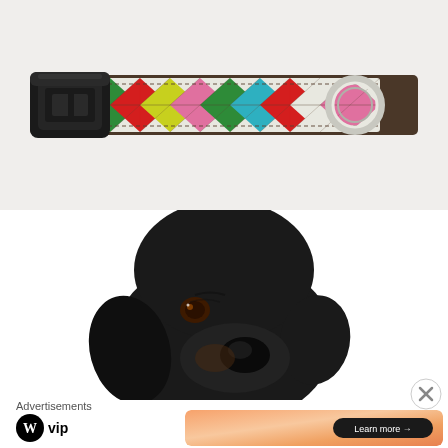[Figure (photo): Close-up product photo of a colorful argyle-patterned dog collar with a black plastic buckle and silver metal ring. The collar has a 'SILLY BUDDY' brand tag on it. The pattern features diamond shapes in red, green, yellow, pink, teal, and white colors.]
[Figure (photo): Close-up photo of a black dog (appears to be a Puggle or similar breed) looking up slightly to the right, against a white background. The dog has brown eyes and a short snout.]
Advertisements
[Figure (logo): WordPress VIP logo - WordPress 'W' circular logo followed by 'vip' text in bold]
[Figure (screenshot): Orange/peach gradient advertisement banner with a dark pill-shaped button reading 'Learn more →']